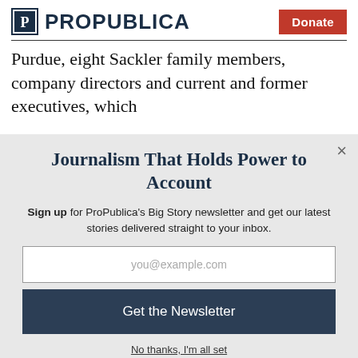ProPublica | Donate
Purdue, eight Sackler family members, company directors and current and former executives, which
Journalism That Holds Power to Account
Sign up for ProPublica's Big Story newsletter and get our latest stories delivered straight to your inbox.
you@example.com
Get the Newsletter
No thanks, I'm all set
This site is protected by reCAPTCHA and the Google Privacy Policy and Terms of Service apply.